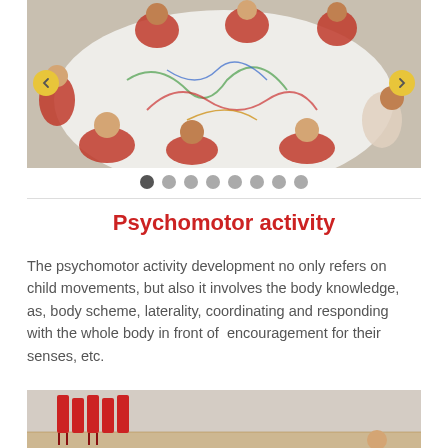[Figure (photo): Aerial view of children in pink/red smocks sitting around a large white paper on the floor, drawing and painting colorful artwork together in a classroom setting.]
[Figure (infographic): Slideshow navigation dots — 8 circular dots, the first one dark/active and the rest light gray.]
Psychomotor activity
The psychomotor activity development no only refers on child movements, but also it involves the body knowledge, as, body scheme, laterality, coordinating and responding with the whole body in front of  encouragement for their senses, etc.
[Figure (photo): Partial view of a classroom with red stacked chairs and a child visible at the bottom right, on a wooden floor.]